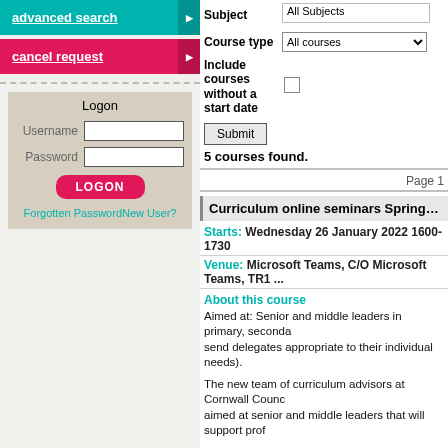advanced search
cancel request
Logon
Username
Password
LOGON
Forgotten PasswordNew User?
Subject: All Subjects
Course type: All courses
Include courses without a start date
Submit
5 courses found.
Page 1
Curriculum online seminars Spring term ses...
Starts: Wednesday 26 January 2022 1600-1730
Venue: Microsoft Teams, C/O Microsoft Teams, TR1 ...
About this course
Aimed at: Senior and middle leaders in primary, seconda... send delegates appropriate to their individual needs).
The new team of curriculum advisors at Cornwall Counc... aimed at senior and middle leaders that will support prof...
The short online seminars are designed to provide an ins... can be further supported by the curriculum advisors work... package.
• Each seminar is distinct in itself but forms part of an ov... intent, implementation and impact.
• The online seminars will provide information, facilitate a... an opportunity for teachers to share and reflect on their p...
• Pre and post tasks will support the online seminar and ... practice.
The online seminar will cover: